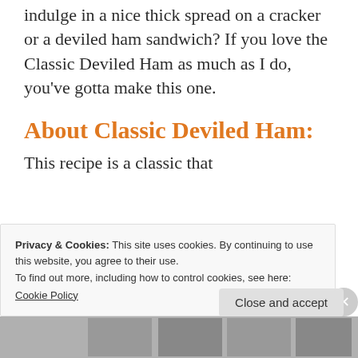indulge in a nice thick spread on a cracker or a deviled ham sandwich? If you love the Classic Deviled Ham as much as I do, you've gotta make this one.
About Classic Deviled Ham:
This recipe is a classic that
Privacy & Cookies: This site uses cookies. By continuing to use this website, you agree to their use.
To find out more, including how to control cookies, see here:
Cookie Policy